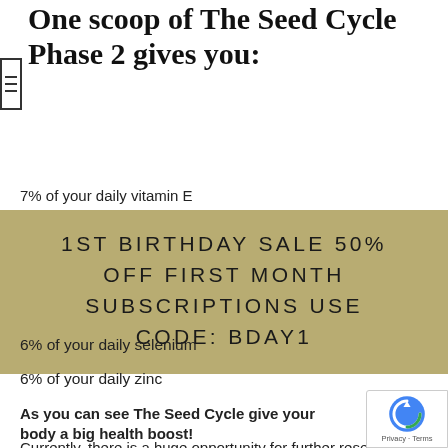One scoop of The Seed Cycle Phase 2 gives you:
7% of your daily vitamin E
[Figure (infographic): Promotional banner with tan/khaki background reading: 1ST BIRTHDAY SALE 50% OFF FIRST MONTH SUBSCRIPTIONS USE CODE: BDAY1]
6% of your daily selenium
6% of your daily zinc
As you can see The Seed Cycle give your body a big health boost!
Currently, there is a huge opportunity for further research